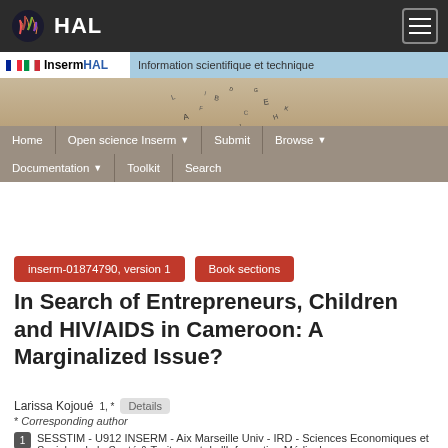HAL - InsermHAL - Information scientifique et technique
[Figure (screenshot): HAL open archive website header with navigation bar showing Home, Open science Inserm, Submit, Browse, Documentation, Toolkit, Search]
inserm-01874790, version 1
Book sections
In Search of Entrepreneurs, Children and HIV/AIDS in Cameroon: A Marginalized Issue?
Larissa Kojoué 1, * Details
* Corresponding author
1 SESSTIM - U912 INSERM - Aix Marseille Univ - IRD - Sciences Economiques et Sociales de la Santé & Traitement de l'Information Médicale